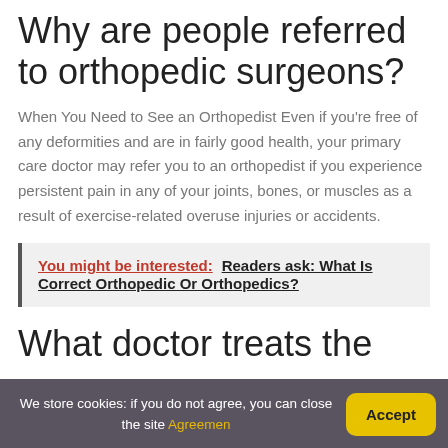Why are people referred to orthopedic surgeons?
When You Need to See an Orthopedist Even if you're free of any deformities and are in fairly good health, your primary care doctor may refer you to an orthopedist if you experience persistent pain in any of your joints, bones, or muscles as a result of exercise-related overuse injuries or accidents.
You might be interested: Readers ask: What Is Correct Orthopedic Or Orthopedics?
What doctor treats the
We store cookies: if you do not agree, you can close the site Agreement